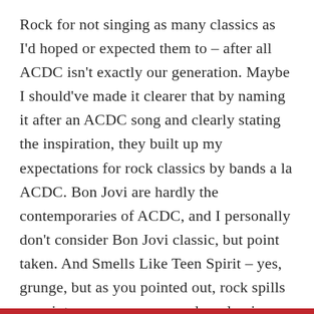Rock for not singing as many classics as I'd hoped or expected them to – after all ACDC isn't exactly our generation. Maybe I should've made it clearer that by naming it after an ACDC song and clearly stating the inspiration, they built up my expectations for rock classics by bands a la ACDC. Bon Jovi are hardly the contemporaries of ACDC, and I personally don't consider Bon Jovi classic, but point taken. And Smells Like Teen Spirit – yes, grunge, but as you pointed out, rock spills over into many genres – and as classics go,